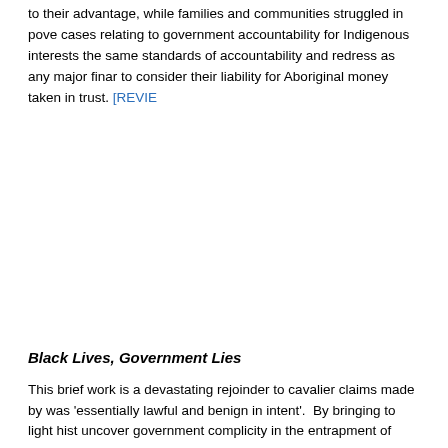to their advantage, while families and communities struggled in poverty. cases relating to government accountability for Indigenous interests the same standards of accountability and redress as any major fina to consider their liability for Aboriginal money taken in trust. [REVIEW
Black Lives, Government Lies
This brief work is a devastating rejoinder to cavalier claims made by was 'essentially lawful and benign in intent'. By bringing to light hist uncover government complicity in the entrapment of men, women a